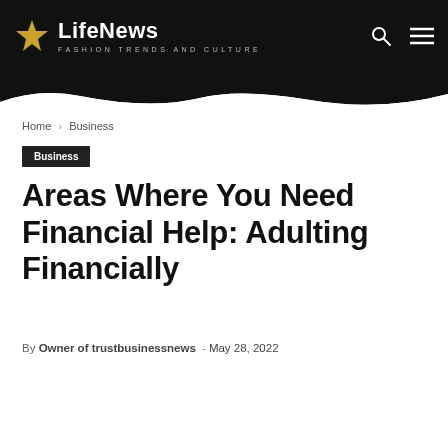LifeNews — Fashion Trends and Culture
Home › Business
Business
Areas Where You Need Financial Help: Adulting Financially
By Owner of trustbusinessnews - May 28, 2022